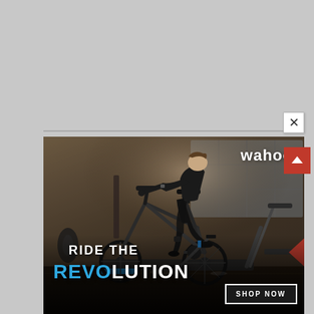[Figure (photo): Wahoo fitness advertisement showing a cyclist riding on an indoor trainer in a dark industrial warehouse setting. The cyclist is in full cycling gear, leaning forward on the bike. The ad text reads 'RIDE THE REVOLUTION' with 'REVO' in blue and 'LUTION' in white. A 'SHOP NOW' button appears in the lower right. The wahoo brand logo is in the upper right. There is a close (X) button in the upper right corner of the popup, and a red scroll-up button on the right side.]